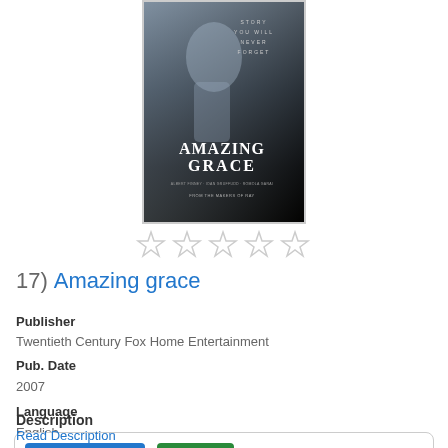[Figure (photo): Movie poster for Amazing Grace - dark dramatic poster with figure and title text]
[Figure (other): Five empty star rating icons]
17) Amazing grace
Publisher
Twentieth Century Fox Home Entertainment
Pub. Date
2007
Language
English
DVD  Available  DVD Drama  1 available  DVD AF AMA Drama  Place Hold  Show Edition
Description
Read Description